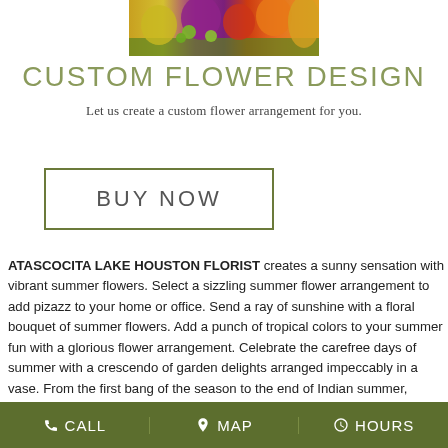[Figure (photo): Colorful summer flower arrangement with purple, orange, green, and yellow flowers visible at the top of the page]
CUSTOM FLOWER DESIGN
Let us create a custom flower arrangement for you.
BUY NOW
ATASCOCITA LAKE HOUSTON FLORIST creates a sunny sensation with vibrant summer flowers. Select a sizzling summer flower arrangement to add pizazz to your home or office. Send a ray of sunshine with a floral bouquet of summer flowers. Add a punch of tropical colors to your summer fun with a glorious flower arrangement. Celebrate the carefree days of summer with a crescendo of garden delights arranged impeccably in a vase. From the first bang of the season to the end of Indian summer, ATASCOCITA LAKE HOUSTON FLORIST creates a spectacular
CALL  MAP  HOURS